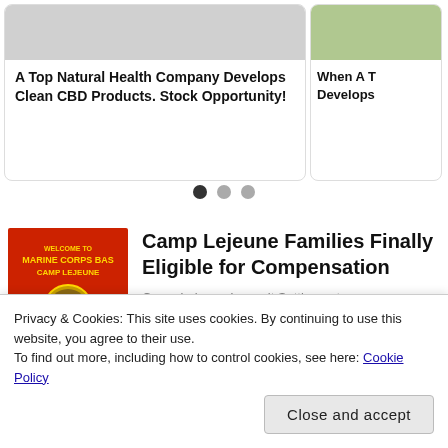[Figure (screenshot): Top card: A Top Natural Health Company Develops Clean CBD Products. Stock Opportunity!]
A Top Natural Health Company Develops Clean CBD Products. Stock Opportunity!
[Figure (screenshot): Second card (partially visible): When A T... Develops]
When A T Develops
[Figure (other): Carousel navigation dots: three dots, first one active/filled]
[Figure (photo): Welcome to Marine Corps Base Camp Lejeune sign - red background with military insignia badges]
Camp Lejeune Families Finally Eligible for Compensation
Camp Lejeune Lawsuit Settlement
[Figure (photo): Partial photo - dark image, article about 'She Hulk' Team, Stars]
'She Hulk' Team, Stars
Privacy & Cookies: This site uses cookies. By continuing to use this website, you agree to their use.
To find out more, including how to control cookies, see here: Cookie Policy
Close and accept